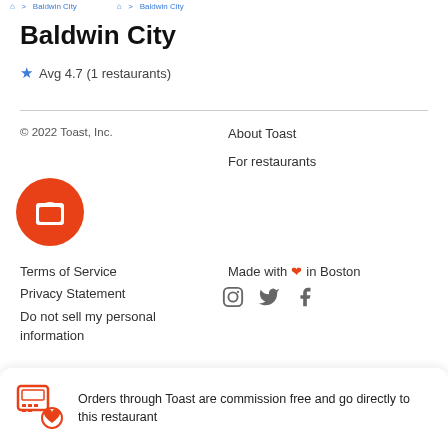Baldwin City navigation breadcrumb
Baldwin City
Avg 4.7 (1 restaurants)
© 2022 Toast, Inc.
About Toast
For restaurants
[Figure (logo): Toast logo — orange circle with white toast/bread icon]
Terms of Service
Privacy Statement
Do not sell my personal information
Made with ❤ in Boston
[Figure (illustration): Social media icons: Instagram, Twitter, Facebook]
Orders through Toast are commission free and go directly to this restaurant